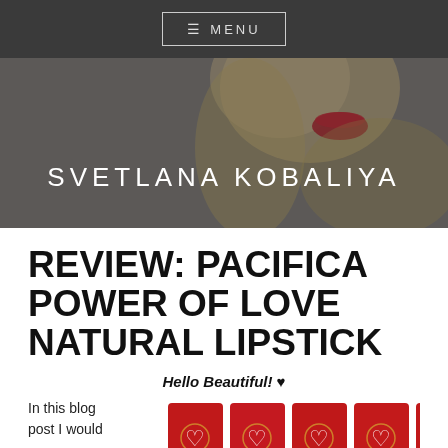☰ MENU
[Figure (photo): Hero banner with a blonde woman wearing red lipstick, with 'SVETLANA KOBALIYA' text overlay]
REVIEW: PACIFICA POWER OF LOVE NATURAL LIPSTICK
Hello Beautiful! ♥
In this blog post I would
[Figure (photo): Row of red lipstick products with heart cutout design]